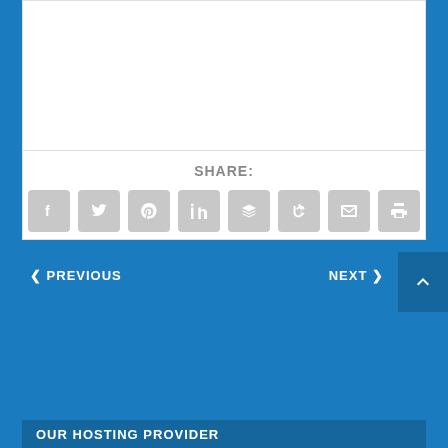SHARE:
[Figure (infographic): Social sharing icons row: Facebook, Twitter, Pinterest, LinkedIn, Buffer/layers, StumbleUpon, Email, Print — all gray rounded square buttons with white icons]
< PREVIOUS
NEXT >
OUR HOSTING PROVIDER